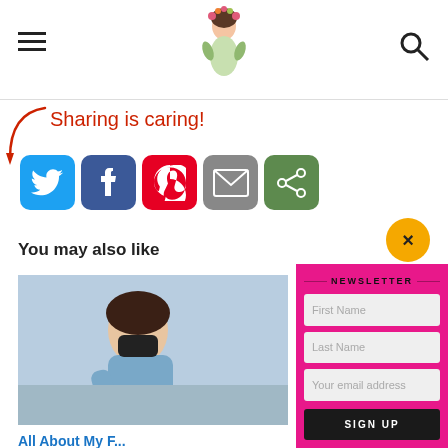Blog website header with hamburger menu, logo illustration, and search icon
Sharing is caring!
[Figure (infographic): Social sharing icons row: Twitter (blue bird), Facebook (blue f), Pinterest (red P), Email (grey envelope), Share (green arrow). Red curved arrow points from 'Sharing is caring!' text to icons.]
You may also like
[Figure (photo): Person wearing blue shirt and black face mask, looking down, appears to be at a medical or skin clinic appointment.]
All About My F... Session at Skin... Fort Langley
[Figure (infographic): Newsletter signup popup overlay with hot pink background. Contains title 'NEWSLETTER', input fields for First Name, Last Name, Your email address, and a SIGN UP button. Orange circle close button with X in top right corner of popup.]